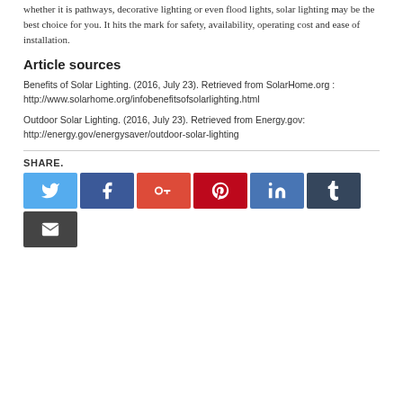whether it is pathways, decorative lighting or even flood lights, solar lighting may be the best choice for you. It hits the mark for safety, availability, operating cost and ease of installation.
Article sources
Benefits of Solar Lighting. (2016, July 23). Retrieved from SolarHome.org : http://www.solarhome.org/infobenefitsofsolarlighting.html
Outdoor Solar Lighting. (2016, July 23). Retrieved from Energy.gov: http://energy.gov/energysaver/outdoor-solar-lighting
[Figure (infographic): Social share buttons: Twitter, Facebook, Google+, Pinterest, LinkedIn, Tumblr, Email]